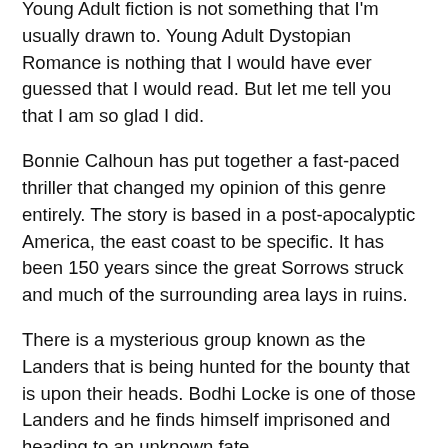Young Adult fiction is not something that I'm usually drawn to. Young Adult Dystopian Romance is nothing that I would have ever guessed that I would read. But let me tell you that I am so glad I did.
Bonnie Calhoun has put together a fast-paced thriller that changed my opinion of this genre entirely. The story is based in a post-apocalyptic America, the east coast to be specific. It has been 150 years since the great Sorrows struck and much of the surrounding area lays in ruins.
There is a mysterious group known as the Landers that is being hunted for the bounty that is upon their heads. Bodhi Locke is one of those Landers and he finds himself imprisoned and heading to an unknown fate.
Shortly after Selah Chavez's eighteenth Birth Remembrance everything that Selah thought she knew about her life comes unraveled. To save her life she must run away from home and everyone she holds dear. The one person that can help her is Bodhi, but to gain his help she must first free him.
The next point to be a fascinating journey that flows...